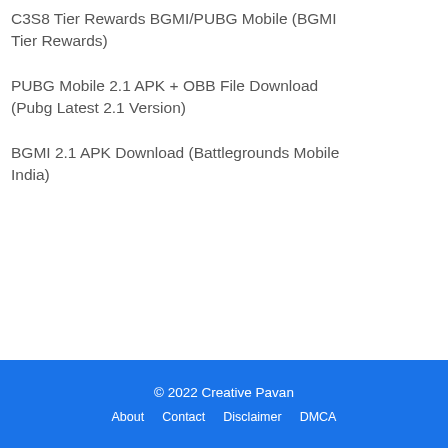C3S8 Tier Rewards BGMI/PUBG Mobile (BGMI Tier Rewards)
PUBG Mobile 2.1 APK + OBB File Download (Pubg Latest 2.1 Version)
BGMI 2.1 APK Download (Battlegrounds Mobile India)
© 2022 Creative Pavan   About   Contact   Disclaimer   DMCA